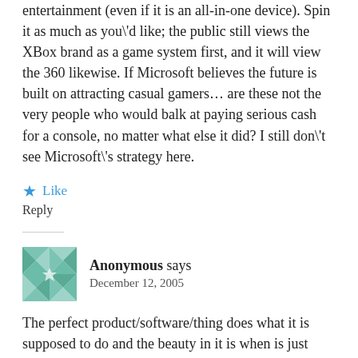entertainment (even if it is an all-in-one device). Spin it as much as you\'d like; the public still views the XBox brand as a game system first, and it will view the 360 likewise. If Microsoft believes the future is built on attracting casual gamers… are these not the very people who would balk at paying serious cash for a console, no matter what else it did? I still don\'t see Microsoft\'s strategy here.
★ Like
Reply
[Figure (illustration): Teal/green quilted/patchwork avatar icon for Anonymous commenter]
Anonymous says
December 12, 2005
The perfect product/software/thing does what it is supposed to do and the beauty in it is when is just doesn\'t anything else.I like to buy components for my HiFi because I know what I want but I need